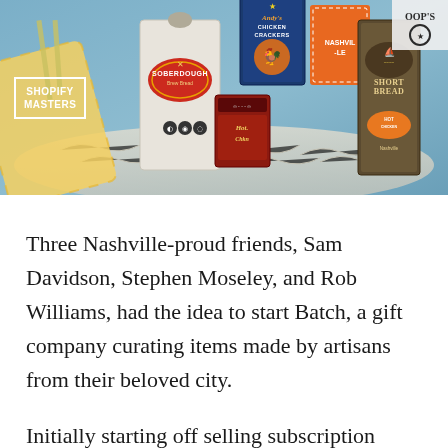[Figure (photo): Hero image showing a gift basket/box with various Nashville artisan food products including Soberdough bread mix, Andy's Chicken Crackers, Hot Chicken seasoning, Shortbread cookies, and other packaged goods. A 'Shopify Masters' badge/logo is overlaid on the lower left of the image.]
Three Nashville-proud friends, Sam Davidson, Stephen Moseley, and Rob Williams, had the idea to start Batch, a gift company curating items made by artisans from their beloved city.
Initially starting off selling subscription boxes